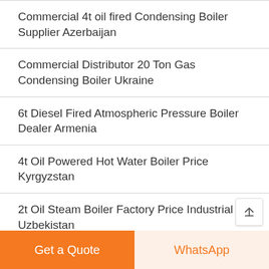Commercial 4t oil fired Condensing Boiler Supplier Azerbaijan
Commercial Distributor 20 Ton Gas Condensing Boiler Ukraine
6t Diesel Fired Atmospheric Pressure Boiler Dealer Armenia
4t Oil Powered Hot Water Boiler Price Kyrgyzstan
2t Oil Steam Boiler Factory Price Industrial Uzbekistan
Best Selling 8 Ton oil fired Boiler Georgia
6 Ton Gas Atmospheric Pressure Boiler Seller